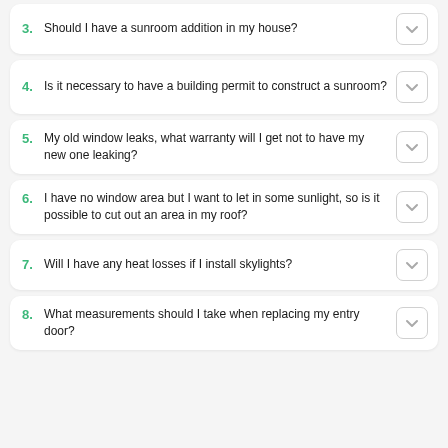3. Should I have a sunroom addition in my house?
4. Is it necessary to have a building permit to construct a sunroom?
5. My old window leaks, what warranty will I get not to have my new one leaking?
6. I have no window area but I want to let in some sunlight, so is it possible to cut out an area in my roof?
7. Will I have any heat losses if I install skylights?
8. What measurements should I take when replacing my entry door?